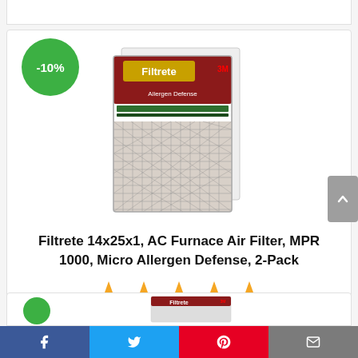[Figure (photo): Filtrete AC furnace air filter product photo, two filters stacked, shown in red packaging with 'Filtrete Allergen Defense' label]
Filtrete 14x25x1, AC Furnace Air Filter, MPR 1000, Micro Allergen Defense, 2-Pack
[Figure (other): 5 orange star rating icons]
GO TO AMAZON
Facebook  Twitter  Pinterest  Email